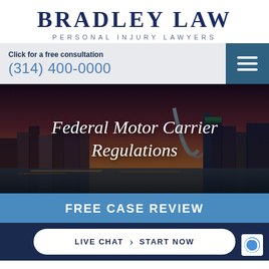BRADLEY LAW
PERSONAL INJURY LAWYERS
Click for a free consultation
(314) 400-0000
[Figure (photo): City skyline at dusk with the St. Louis Gateway Arch visible, overlaid with the text 'Federal Motor Carrier Regulations']
Federal Motor Carrier Regulations
FREE CASE REVIEW
LIVE CHAT  >  START NOW